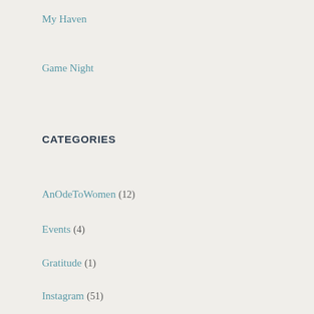My Haven
Game Night
CATEGORIES
AnOdeToWomen (12)
Events (4)
Gratitude (1)
Instagram (51)
KATrambles (32)
LetsKATchUp (9)
PDA (4)
Tales (58)